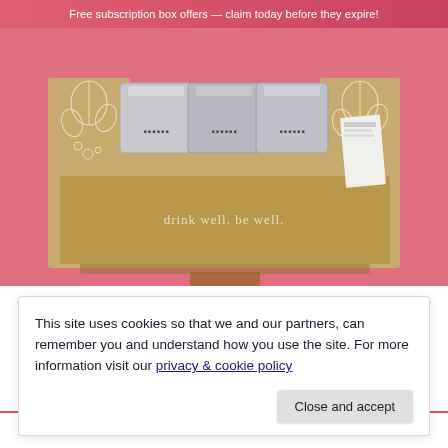Free subscription box offers — claim today before they expire!
[Figure (photo): An open kraft cardboard subscription box with floral white botanical print on the interior flaps, containing several silver foil packet items. The front of the box reads 'drink well. be well.' on a pink/salmon background.]
This site uses cookies so that we and our partners, can remember you and understand how you use the site. For more information visit our privacy & cookie policy
Close and accept
Breakfast Nook                                             Vanilla Sutter